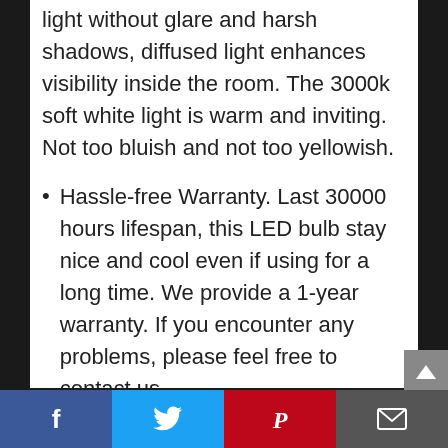light without glare and harsh shadows, diffused light enhances visibility inside the room. The 3000k soft white light is warm and inviting. Not too bluish and not too yellowish.
Hassle-free Warranty. Last 30000 hours lifespan, this LED bulb stay nice and cool even if using for a long time. We provide a 1-year warranty. If you encounter any problems, please feel free to contact us.